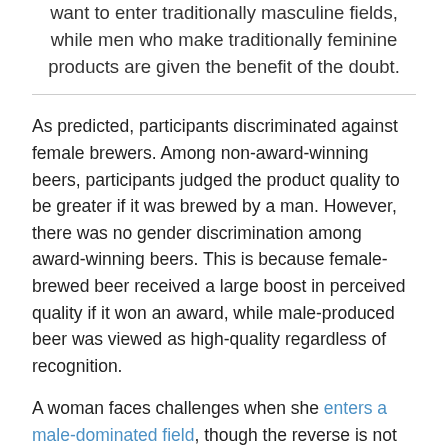want to enter traditionally masculine fields, while men who make traditionally feminine products are given the benefit of the doubt.
As predicted, participants discriminated against female brewers. Among non-award-winning beers, participants judged the product quality to be greater if it was brewed by a man. However, there was no gender discrimination among award-winning beers. This is because female-brewed beer received a large boost in perceived quality if it won an award, while male-produced beer was viewed as high-quality regardless of recognition.
A woman faces challenges when she enters a male-dominated field, though the reverse is not generally true. This same principle held up in the experimental cupcake market. Male cupcake bakers experienced no disadvantage. The baker's gender did not influence how raters perceived the quality of the cupcake, and award recognition gave an equal